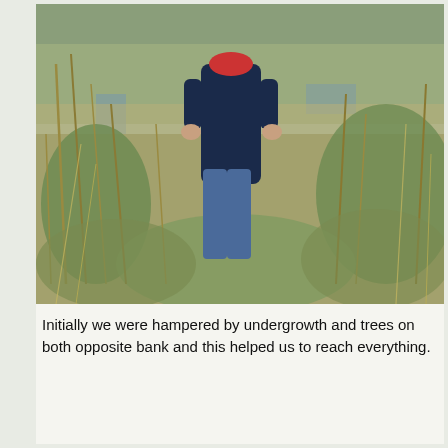[Figure (photo): A person in a dark blue hoodie and jeans standing among tall wild grasses and reeds near a stream or wetland area, viewed from behind. The vegetation is a mix of green and dry golden grass. Natural outdoor setting, overcast daylight.]
Initially we were hampered by undergrowth and trees on both opposite bank and this helped us to reach everything.